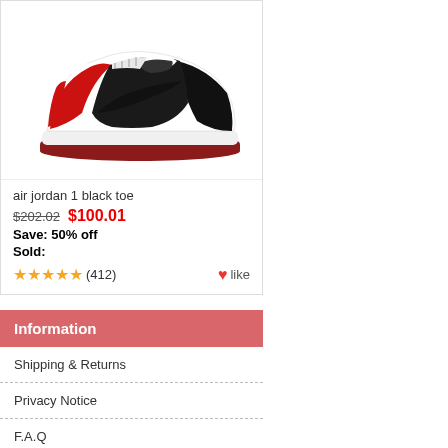[Figure (photo): Air Jordan 1 Low Black Toe sneaker — white, black, and red colorway, side profile view]
air jordan 1 black toe
$202.02  $100.01
Save: 50% off
Sold:
★★★★★ (412)  ♥ like
Information
Shipping & Returns
Privacy Notice
F.A.Q
Contact Us
Site Map
Gift Certificate FAQ